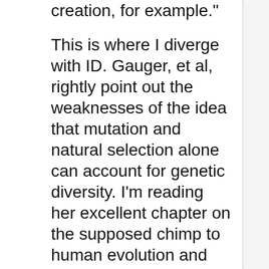creation, for example."
This is where I diverge with ID. Gauger, et al, rightly point out the weaknesses of the idea that mutation and natural selection alone can account for genetic diversity. I'm reading her excellent chapter on the supposed chimp to human evolution and how long it would take given only those forces acting at the gene/protein